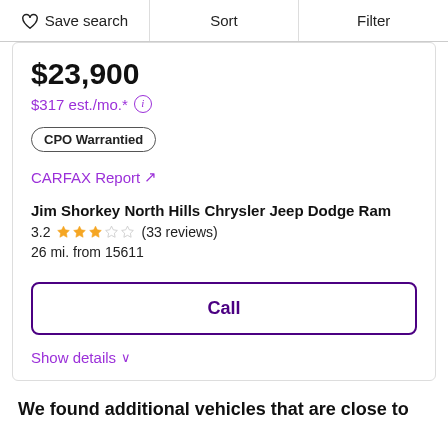Save search | Sort | Filter
$23,900
$317 est./mo.*
CPO Warrantied
CARFAX Report ↗
Jim Shorkey North Hills Chrysler Jeep Dodge Ram
3.2 ★★★☆☆ (33 reviews)
26 mi. from 15611
Call
Show details ∨
We found additional vehicles that are close to